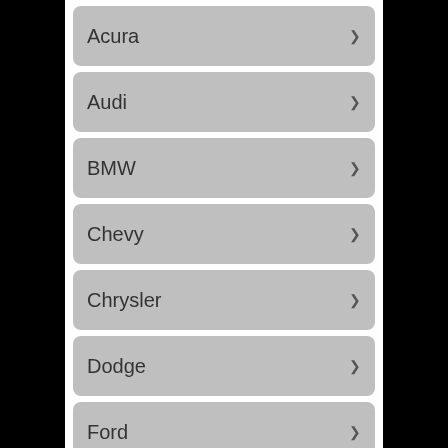Acura
Audi
BMW
Chevy
Chrysler
Dodge
Ford
GMC